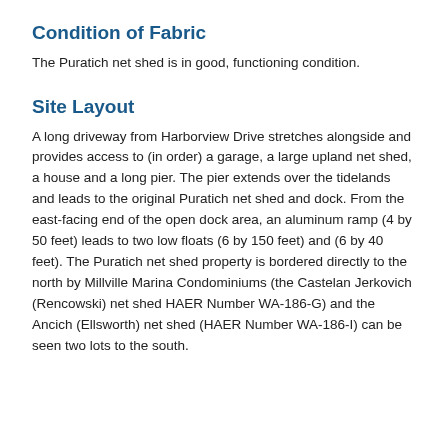Condition of Fabric
The Puratich net shed is in good, functioning condition.
Site Layout
A long driveway from Harborview Drive stretches alongside and provides access to (in order) a garage, a large upland net shed, a house and a long pier. The pier extends over the tidelands and leads to the original Puratich net shed and dock. From the east-facing end of the open dock area, an aluminum ramp (4 by 50 feet) leads to two low floats (6 by 150 feet) and (6 by 40 feet). The Puratich net shed property is bordered directly to the north by Millville Marina Condominiums (the Castelan Jerkovich (Rencowski) net shed HAER Number WA-186-G) and the Ancich (Ellsworth) net shed (HAER Number WA-186-I) can be seen two lots to the south.